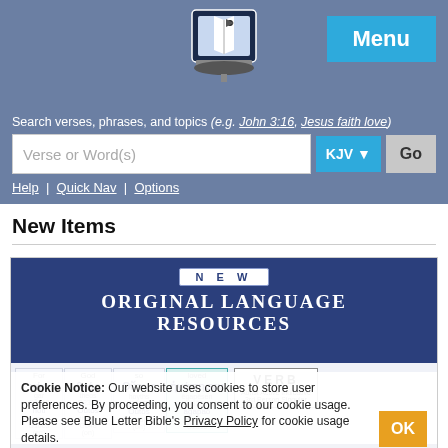[Figure (logo): Blue Letter Bible logo — computer over open book]
Menu
Search verses, phrases, and topics (e.g. John 3:16, Jesus faith love)
Verse or Word(s)  KJV  Go
Help | Quick Nav | Options
New Items
[Figure (screenshot): Banner for Original Language Resources showing interlinear Bible text with Greek words, transliterations, Strong's numbers, and a VERB box overlay for John 3:16]
Cookie Notice: Our website uses cookies to store user preferences. By proceeding, you consent to our cookie usage. Please see Blue Letter Bible's Privacy Policy for cookie usage details.  OK